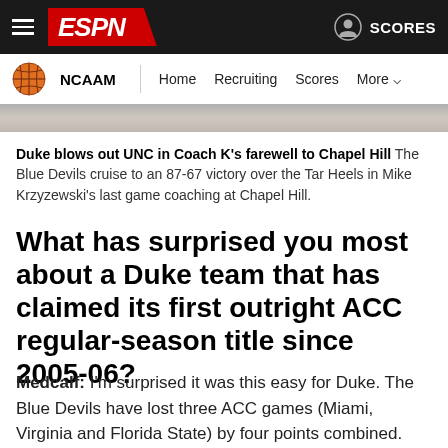ESPN - NCAAM navigation bar with Home, Recruiting, Scores, More
[Figure (photo): Partial image strip showing a sports photo, cropped]
Duke blows out UNC in Coach K's farewell to Chapel Hill The Blue Devils cruise to an 87-67 victory over the Tar Heels in Mike Krzyzewski's last game coaching at Chapel Hill.
What has surprised you most about a Duke team that has claimed its first outright ACC regular-season title since 2005-06?
Medcalf: I'm surprised it was this easy for Duke. The Blue Devils have lost three ACC games (Miami, Virginia and Florida State) by four points combined. They are, by a healthy margin, the most efficient offensive and defensive team in the league. We knew this was their title to lose, but it was...